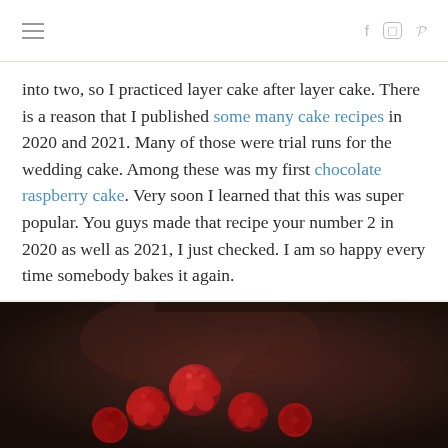≡  f  ○  ℗
into two, so I practiced layer cake after layer cake. There is a reason that I published some many cake recipes in 2020 and 2021. Many of those were trial runs for the wedding cake. Among these was my first chocolate raspberry cake. Very soon I learned that this was super popular. You guys made that recipe your number 2 in 2020 as well as 2021, I just checked. I am so happy every time somebody bakes it again.
[Figure (photo): Close-up dark moody photo of red raspberries on a dark brown background, partially visible at the bottom of the page.]